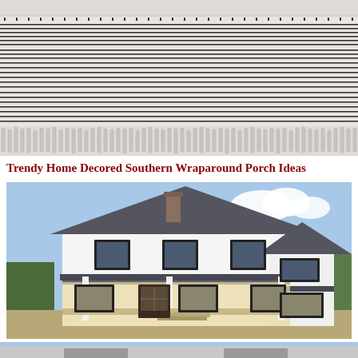[Figure (photo): Close-up photo of a white textile/rug with black horizontal stripes and fringe edges]
Trendy Home Decored Southern Wraparound Porch Ideas
[Figure (photo): Exterior photo of a large white two-story farmhouse with dark gray roof, wraparound porch with metal roof, stone chimney, and black-trimmed windows. Trees visible in background.]
[Figure (photo): Partial bottom strip showing another building/structure]